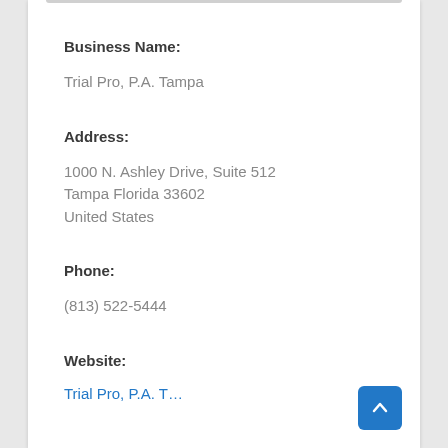Business Name:
Trial Pro, P.A. Tampa
Address:
1000 N. Ashley Drive, Suite 512
Tampa Florida 33602
United States
Phone:
(813) 522-5444
Website:
Trial Pro, P.A. T…